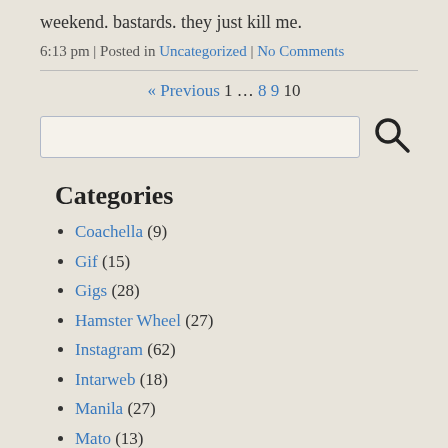weekend. bastards. they just kill me.
6:13 pm | Posted in Uncategorized | No Comments
« Previous 1 … 8 9 10
Categories
Coachella (9)
Gif (15)
Gigs (28)
Hamster Wheel (27)
Instagram (62)
Intarweb (18)
Manila (27)
Mato (13)
Mobile (8)